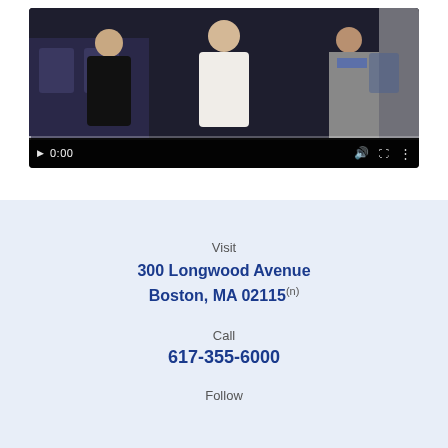[Figure (screenshot): Video player showing a group of people standing in what appears to be a medical facility. The video is paused at 0:00 with a progress bar and controls visible at the bottom.]
Visit
300 Longwood Avenue
Boston, MA 02115
Call
617-355-6000
Follow